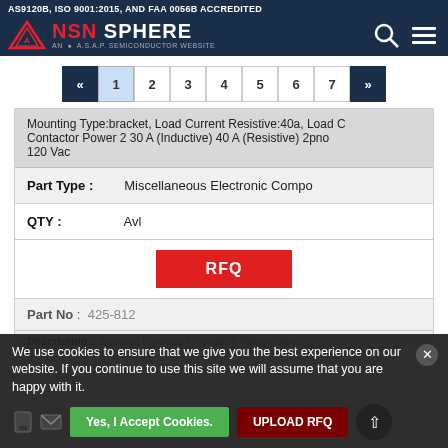AS9120B, ISO 9001:2015, AND FAA 0056B ACCREDITED
[Figure (logo): NSN Sphere logo - AN A.S.A.P. Semiconductor Website]
« 1 2 3 4 5 6 7 »
Mounting Type:bracket, Load Current Resistive:40a, Load C Contactor Power 2 30 A (Inductive) 40 A (Resistive) 2pno 120 Vac
| Field | Value |
| --- | --- |
| Part Type : | Miscellaneous Electronic Compo |
| QTY : | Avl |
RFQ
Part No : 425-812
Description : General Purpose / Industrial Relays 3pno
We use cookies to ensure that we give you the best experience on our website. If you continue to use this site we will assume that you are happy with it.
Yes, I Accept Cookies.
UPLOAD RFQ